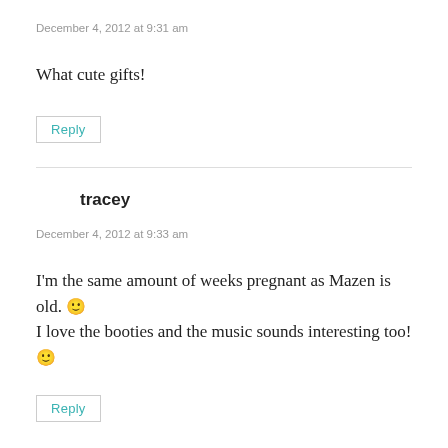December 4, 2012 at 9:31 am
What cute gifts!
Reply
tracey
December 4, 2012 at 9:33 am
I'm the same amount of weeks pregnant as Mazen is old. 🙂
I love the booties and the music sounds interesting too! 🙂
Reply